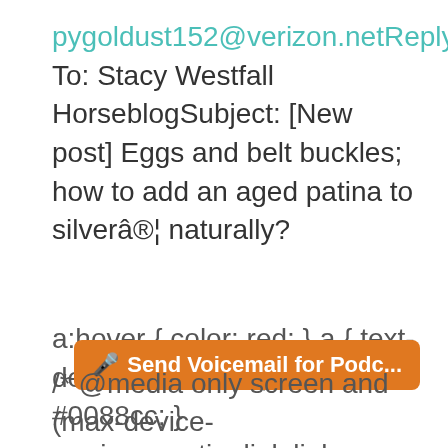pygoldust152@verizon.netReply To: Stacy Westfall HorseblogSubject: [New post] Eggs and belt buckles; how to add an aged patina to silverâ®¦ naturally?
a:hover { color: red; } a { text-decoration: none; color: #0088cc; } a.primaryactionlink:link, a.primaryactionlink:visited { background-color: #2585B2; color: #fff; } a.primaryactionlink:hover, a.primaryactionlink:active { background-color: #11729E !important; color: #fff !important; }
🎙 Send Voicemail for Podc...
/* @media only screen and (max-device-